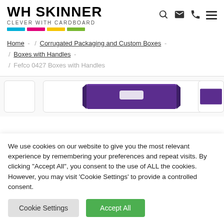WH SKINNER — CLEVER WITH CARDBOARD
Home - / Corrugated Packaging and Custom Boxes - / Boxes with Handles - / Fefco 0427 Boxes with Handles
[Figure (photo): Purple cardboard box with handle cutout, shown in product image strip]
We use cookies on our website to give you the most relevant experience by remembering your preferences and repeat visits. By clicking "Accept All", you consent to the use of ALL the cookies. However, you may visit 'Cookie Settings' to provide a controlled consent.